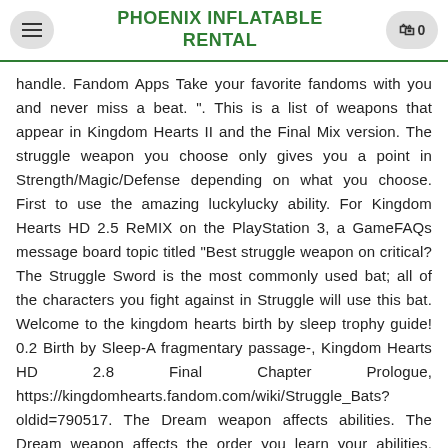PHOENIX INFLATABLE RENTAL
handle. Fandom Apps Take your favorite fandoms with you and never miss a beat. ". This is a list of weapons that appear in Kingdom Hearts II and the Final Mix version. The struggle weapon you choose only gives you a point in Strength/Magic/Defense depending on what you choose. First to use the amazing luckylucky ability. For Kingdom Hearts HD 2.5 ReMIX on the PlayStation 3, a GameFAQs message board topic titled "Best struggle weapon on critical? The Struggle Sword is the most commonly used bat; all of the characters you fight against in Struggle will use this bat. Welcome to the kingdom hearts birth by sleep trophy guide! 0.2 Birth by Sleep-A fragmentary passage-, Kingdom Hearts HD 2.8 Final Chapter Prologue, https://kingdomhearts.fandom.com/wiki/Struggle_Bats?oldid=790517. The Dream weapon affects abilities. The Dream weapon affects the order you learn your abilities. Answer from: kh 2 fan I personaly am an attacker than defender or magician so i choose the sword it has made the game quite easier than the shield or staff i had three saves to see which was the best and to me it was the sword